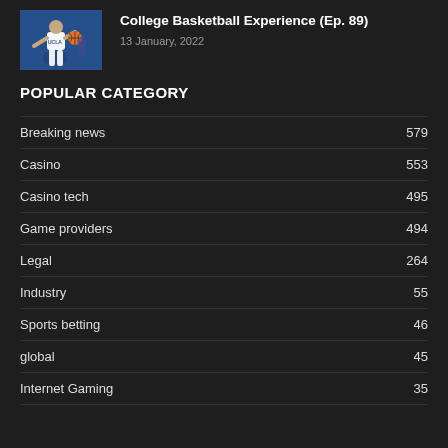[Figure (photo): Basketball player in UCLA white uniform dribbling ball on court]
College Basketball Experience (Ep. 89)
13 January, 2022
POPULAR CATEGORY
Breaking news  579
Casino  553
Casino tech  495
Game providers  494
Legal  264
Industry  55
Sports betting  46
global  45
Internet Gaming  35